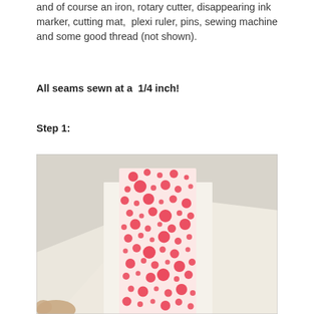and of course an iron, rotary cutter, disappearing ink marker, cutting mat,  plexi ruler, pins, sewing machine and some good thread (not shown).
All seams sewn at a  1/4 inch!
Step 1:
[Figure (photo): A strip of white fabric with a red polka-dot pattern placed on top of plain white fabric, held by a hand at the bottom left corner. The photo is taken on a light grey surface.]